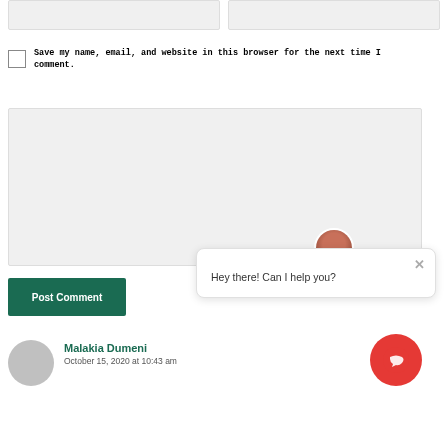[Figure (screenshot): Two gray input form fields side by side at the top of the page]
[Figure (screenshot): Checkbox for saving name, email, and website in browser]
Save my name, email, and website in this browser for the next time I comment.
[Figure (screenshot): Large gray textarea comment input box]
[Figure (screenshot): Post Comment button in dark green]
[Figure (screenshot): Chat widget popup with avatar and message: Hey there! Can I help you?]
[Figure (screenshot): Red circular chat FAB button]
Malakia Dumeni
October 15, 2020 at 10:43 am